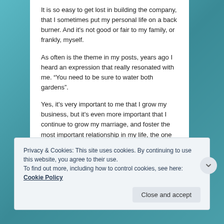It is so easy to get lost in building the company, that I sometimes put my personal life on a back burner. And it's not good or fair to my family, or frankly, myself.
As often is the theme in my posts, years ago I heard an expression that really resonated with me. “You need to be sure to water both gardens”.
Yes, it's very important to me that I grow my business, but it's even more important that I continue to grow my marriage, and foster the most important relationship in my life, the one with my husband.
Privacy & Cookies: This site uses cookies. By continuing to use this website, you agree to their use.
To find out more, including how to control cookies, see here: Cookie Policy
Close and accept